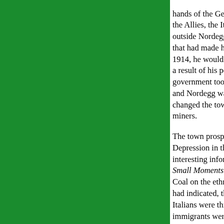hands of the Germans increased the hostility the Allies, the Italians held a parade and flew outside Nordegg's house. It was ironic and in that had made his enterprise possible would 1914, he would board the train to Ottawa, a b a result of his powerful friends in Ottawa, an government took charge of stock held by the and Nordegg was removed from Brazeau's b changed the town's name to Brazeau, a mov miners.
The town prospered with the mines in the 19 Depression in the 1930s. Its population range interesting information on Nordegg is found i Small Moments in Time." She cites the 192 Coal on the ethnic distribution of the majority had indicated, the British was the largest gro Italians were third. She notes, "However, the immigrants were largely British and Italian, si number of Italian workmen had followed Joh but Central European immigration after Worl Nordegg's ethnic structure."4 Further, the re highest percentage of Italian workmen of any percentage of British workers is not unusual producer of coal and skilled miners did emigr by the Canadian government. According to B
The Nordegg Italian population was d within certain Italian provinces, but the came were widely scattered. Approxim